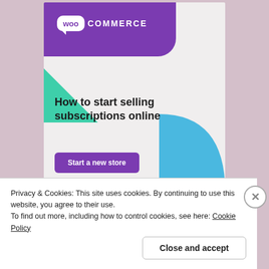[Figure (infographic): WooCommerce advertisement banner with purple header bar containing the WooCommerce logo, green triangle and blue circle decorative shapes, text reading 'How to start selling subscriptions online', and a purple 'Start a new store' button.]
Privacy & Cookies: This site uses cookies. By continuing to use this website, you agree to their use.
To find out more, including how to control cookies, see here: Cookie Policy
Close and accept